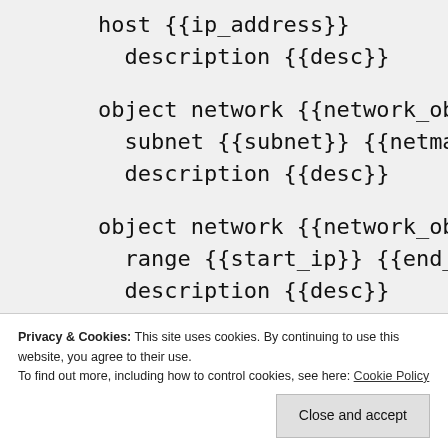host {{ip_address}}
  description {{desc}}

object network {{network_object_n
  subnet {{subnet}} {{netmask}}
  description {{desc}}

object network {{network_object_n
  range {{start_ip}} {{end_ip}}
  description {{desc}}
Privacy & Cookies: This site uses cookies. By continuing to use this website, you agree to their use.
To find out more, including how to control cookies, see here: Cookie Policy
Close and accept